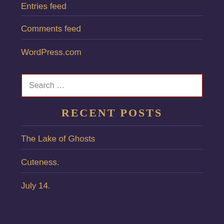Entries feed
Comments feed
WordPress.com
[Figure (other): Search input box with placeholder text 'Search ...']
RECENT POSTS
The Lake of Ghosts
Cuteness.
July 14.